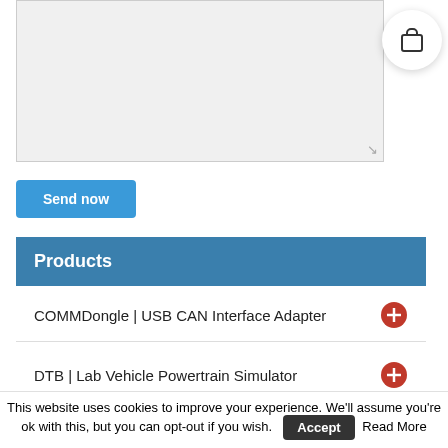[Figure (screenshot): Grey textarea input box with resize handle in bottom right corner]
[Figure (illustration): White circular shopping cart icon button]
Send now
Products
COMMDongle | USB CAN Interface Adapter
DTB | Lab Vehicle Powertrain Simulator
flexiTARGET | Simulink Generic Target Support
This website uses cookies to improve your experience. We'll assume you're ok with this, but you can opt-out if you wish. Accept Read More